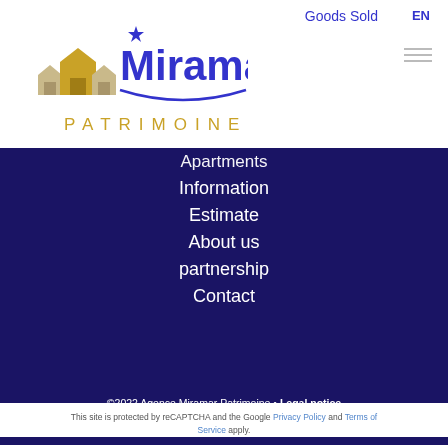[Figure (logo): Miramar Patrimoine logo with stylized house icons in gold and the text 'Miramar' in blue bold and 'PATRIMOINE' in gold below]
Goods Sold
EN
Apartments
Information
Estimate
About us
partnership
Contact
©2022 Agence Miramar Patrimoine • Legal notice • Agency fees • Change cookies settings Design by Apimo™
This site is protected by reCAPTCHA and the Google Privacy Policy and Terms of Service apply.